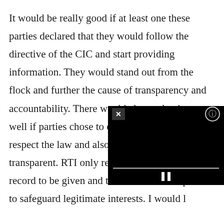It would be really good if at least one these parties declared that they would follow the directive of the CIC and start providing information. They would stand out from the flock and further the cause of transparency and accountability. There would electoral gains as well if parties chose to demonstrate that they respect the law and also are willing to be transparent. RTI only requires information on record to be given and there are ten exemptions to safeguard legitimate interests. I would like to mention that the Indian Army also is in the ambit of RTI and there has not been a single instance of the Indian Army having suffered because of this. The exemptions in the
[Figure (screenshot): A video player overlay in the bottom-right area of the page. It has a black background with a close (X) button in the top-left corner and a settings/account icon in the top-right corner. A progress bar is shown near the bottom, with a pause button (two vertical bars) centered below it.]